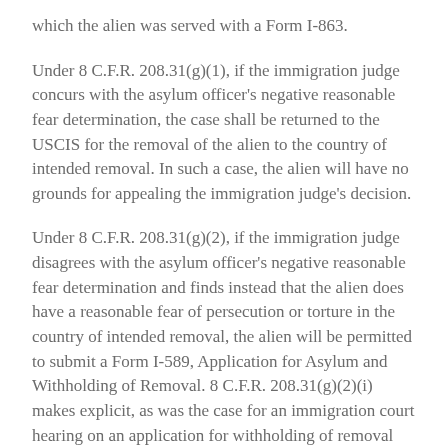which the alien was served with a Form I-863.
Under 8 C.F.R. 208.31(g)(1), if the immigration judge concurs with the asylum officer's negative reasonable fear determination, the case shall be returned to the USCIS for the removal of the alien to the country of intended removal. In such a case, the alien will have no grounds for appealing the immigration judge's decision.
Under 8 C.F.R. 208.31(g)(2), if the immigration judge disagrees with the asylum officer's negative reasonable fear determination and finds instead that the alien does have a reasonable fear of persecution or torture in the country of intended removal, the alien will be permitted to submit a Form I-589, Application for Asylum and Withholding of Removal. 8 C.F.R. 208.31(g)(2)(i) makes explicit, as was the case for an immigration court hearing on an application for withholding of removal after a positive reasonable